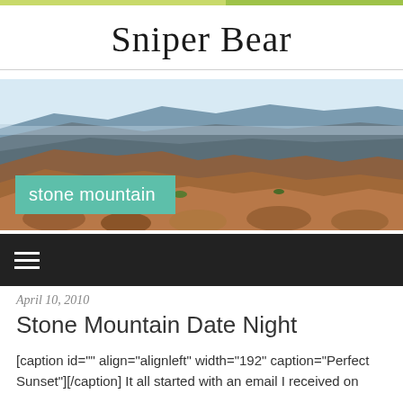Sniper Bear
[Figure (photo): Grand Canyon landscape with rocky red terrain, canyon walls, and blue sky, with a teal 'stone mountain' label overlay in the lower left]
≡ (hamburger menu navigation bar)
April 10, 2010
Stone Mountain Date Night
[caption id="" align="alignleft" width="192" caption="Perfect Sunset"][/caption] It all started with an email I received on